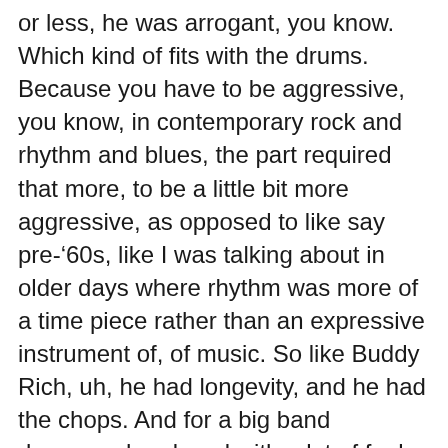or less, he was arrogant, you know. Which kind of fits with the drums. Because you have to be aggressive, you know, in contemporary rock and rhythm and blues, the part required that more, to be a little bit more aggressive, as opposed to like say pre-'60s, like I was talking about in older days where rhythm was more of a time piece rather than an expressive instrument of, of music. So like Buddy Rich, uh, he had longevity, and he had the chops. And for a big band drummer, he played with a lot of feel and a lot of personality. Guys like that. And then, you know, as far as rock goes, I, I used to listen to, I used to practice to records like Little Richard, like "Lucille" and um, Fats Domino, you know, those records, and all the way from that to, you know, who was, I used to listen to, here in San Francisco there was a station, as a matter of fact. She remembers it, it was KSOL and they played